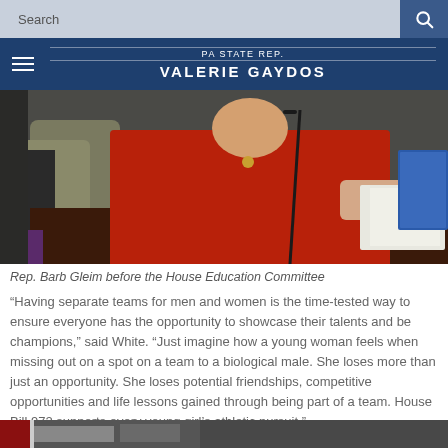Search
PA STATE REP. VALERIE GAYDOS
[Figure (photo): Rep. Barb Gleim seated at a table before the House Education Committee, wearing a red top, with papers and a binder visible on the table.]
Rep. Barb Gleim before the House Education Committee
“Having separate teams for men and women is the time-tested way to ensure everyone has the opportunity to showcase their talents and be champions,” said White. “Just imagine how a young woman feels when missing out on a spot on a team to a biological male. She loses more than just an opportunity. She loses potential friendships, competitive opportunities and life lessons gained through being part of a team. House Bill 972 supports every young girl’s athletic pursuit.”
[Figure (photo): Partial photo visible at the bottom of the page, showing people in a meeting or hearing setting.]